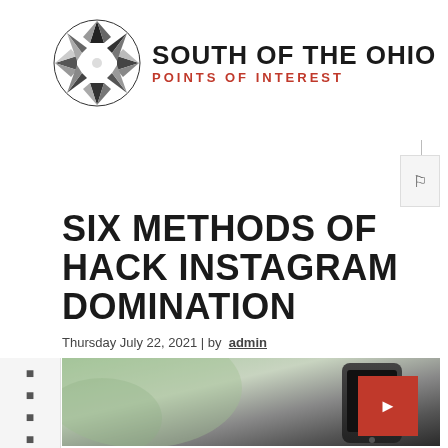[Figure (logo): South of the Ohio Points of Interest logo with geometric star/compass rose icon in black and gray, followed by site name text]
SIX METHODS OF HACK INSTAGRAM DOMINATION
Thursday July 22, 2021 | by admin
[Figure (photo): Close-up photo of a smartphone being held, with blurred green background]